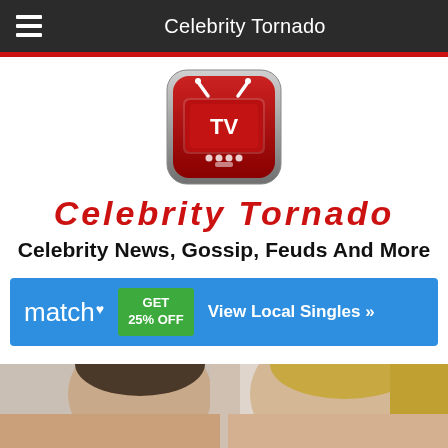Celebrity Tornado
[Figure (logo): Red TV app icon with stylized television and antenna on rounded square]
Celebrity Tornado
Celebrity News, Gossip, Feuds And More
[Figure (infographic): Match.com advertisement banner: match with heart, GET 25% OFF green button, View Local Singles >>]
[Figure (photo): Partial photo of two people, a man and a woman, cropped at bottom of page]